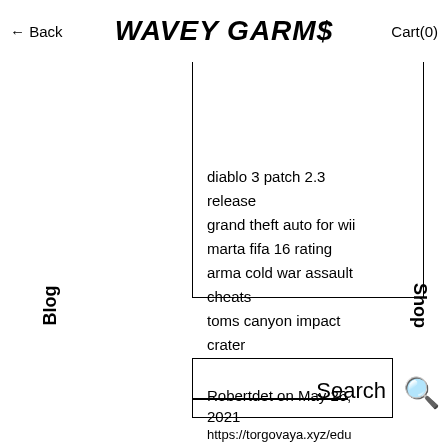← Back   WAVEY GARM$   Cart(0)
adapter drivers
harry potter desktop
icons
diablo 3 patch 2.3 release
grand theft auto for wii
marta fifa 16 rating
arma cold war assault cheats
toms canyon impact crater
Robertdet on May 26, 2021
Blog
Shop
Search
https://torgovaya.xyz/edu